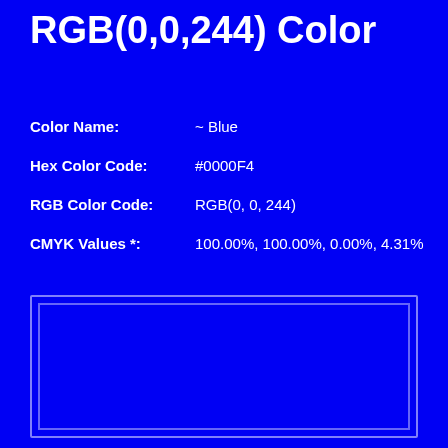RGB(0,0,244) Color
Color Name:    ~ Blue
Hex Color Code:    #0000F4
RGB Color Code:    RGB(0, 0, 244)
CMYK Values *:    100.00%, 100.00%, 0.00%, 4.31%
[Figure (other): A solid color swatch showing RGB(0,0,244) blue color, displayed as a rectangle with a light border on the blue background.]